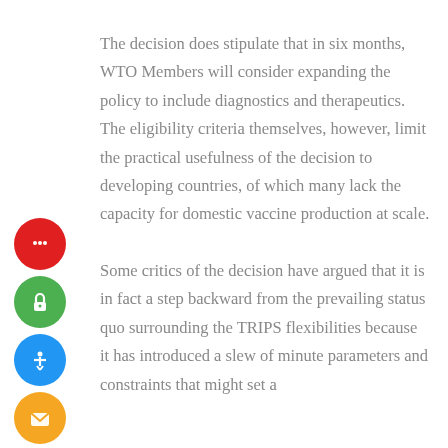The decision does stipulate that in six months, WTO Members will consider expanding the policy to include diagnostics and therapeutics. The eligibility criteria themselves, however, limit the practical usefulness of the decision to developing countries, of which many lack the capacity for domestic vaccine production at scale.

Some critics of the decision have argued that it is in fact a step backward from the prevailing status quo surrounding the TRIPS flexibilities because it has introduced a slew of minute parameters and constraints that might set a